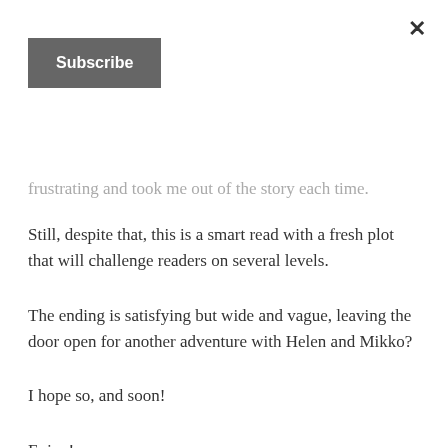×
Subscribe
frustrating and took me out of the story each time.
Still, despite that, this is a smart read with a fresh plot that will challenge readers on several levels.
The ending is satisfying but wide and vague, leaving the door open for another adventure with Helen and Mikko?
I hope so, and soon!
Enjoy!